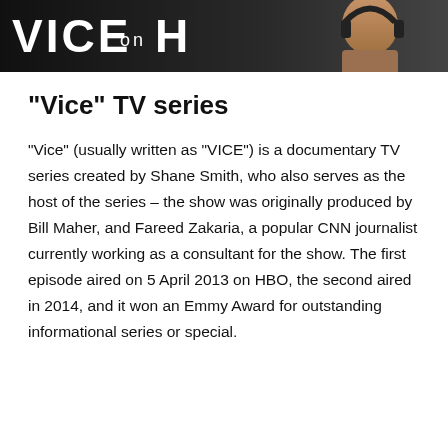[Figure (photo): Dark banner/photo strip showing 'VICE on' text logo in white bold letters and a partial image of a person wearing headphones on the right side.]
“Vice” TV series
“Vice” (usually written as “VICE”) is a documentary TV series created by Shane Smith, who also serves as the host of the series – the show was originally produced by Bill Maher, and Fareed Zakaria, a popular CNN journalist currently working as a consultant for the show. The first episode aired on 5 April 2013 on HBO, the second aired in 2014, and it won an Emmy Award for outstanding informational series or special.